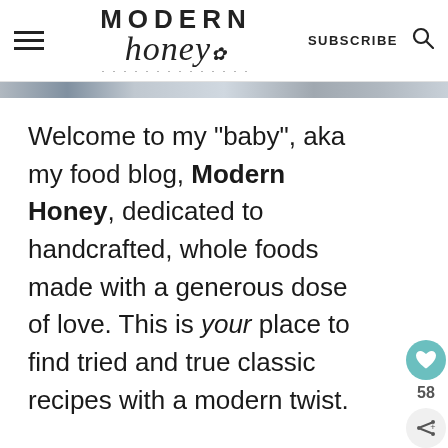MODERN honey — SUBSCRIBE [search icon]
[Figure (photo): Narrow horizontal image strip showing a food photograph, partially visible]
Welcome to my "baby", aka my food blog, Modern Honey, dedicated to handcrafted, whole foods made with a generous dose of love. This is your place to find tried and true classic recipes with a modern twist.